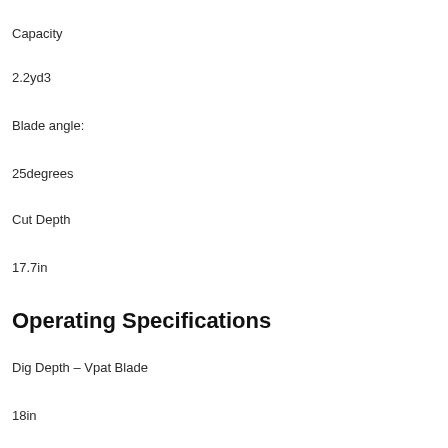Capacity
2.2yd3
Blade angle:
25degrees
Cut Depth
17.7in
Operating Specifications
Dig Depth – Vpat Blade
18in